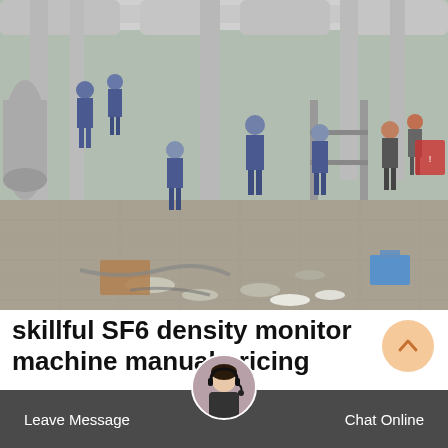[Figure (photo): Industrial electrical substation scene with multiple workers in blue uniforms and hard hats performing maintenance on large pipe/gas equipment. Tools and equipment parts scattered on paved ground. Tall cylindrical tanks and pipe structures visible in background.]
skillful SF6 density monitor machine manual pricing
If you're looking for a SF6 gas handling specialist that combines